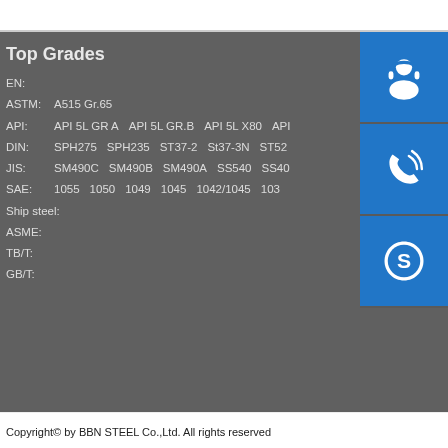Top Grades
EN:
ASTM:    A515 Gr.65
API:    API 5L GR A    API 5L GR.B    API 5L X80    API ...
DIN:    SPH275    SPH235    ST37-2    St37-3N    ST52... ST52... 3
JIS:    SM490C    SM490B    SM490A    SS540    SS40...
SAE:    1055    1050    1049    1045    1042/1045    103...
Ship steel:
ASME:
TB/T:
GB/T:
Copyright© by BBN STEEL Co.,Ltd. All rights reserved